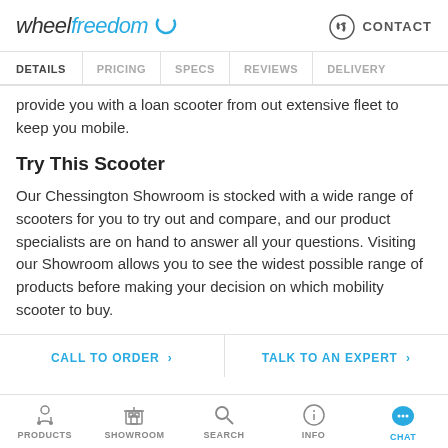wheelfreedom CONTACT
DETAILS PRICING SPECS REVIEWS DELIVERY
provide you with a loan scooter from out extensive fleet to keep you mobile.
Try This Scooter
Our Chessington Showroom is stocked with a wide range of scooters for you to try out and compare, and our product specialists are on hand to answer all your questions. Visiting our Showroom allows you to see the widest possible range of products before making your decision on which mobility scooter to buy.
CALL TO ORDER > TALK TO AN EXPERT >
PRODUCTS SHOWROOM SEARCH INFO CHAT